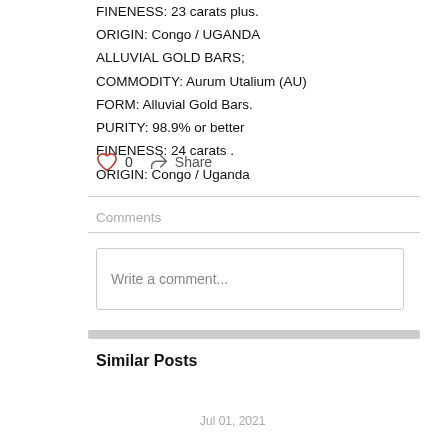FINENESS: 23 carats plus.
ORIGIN: Congo / UGANDA
ALLUVIAL GOLD BARS;
COMMODITY: Aurum Utalium (AU)
FORM: Alluvial Gold Bars.
PURITY: 98.9% or better
FINENESS: 24 carats .
ORIGIN: Congo / Uganda
0   Share
Comments
Write a comment...
Similar Posts
Jul 01, 2021